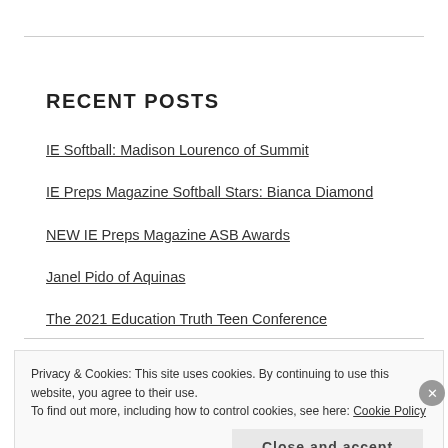RECENT POSTS
IE Softball: Madison Lourenco of Summit
IE Preps Magazine Softball Stars: Bianca Diamond
NEW IE Preps Magazine ASB Awards
Janel Pido of Aquinas
The 2021 Education Truth Teen Conference
Privacy & Cookies: This site uses cookies. By continuing to use this website, you agree to their use. To find out more, including how to control cookies, see here: Cookie Policy
Close and accept